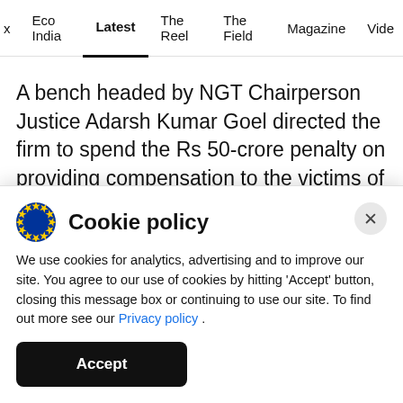x  Eco India  Latest  The Reel  The Field  Magazine  Vide
A bench headed by NGT Chairperson Justice Adarsh Kumar Goel directed the firm to spend the Rs 50-crore penalty on providing compensation to the victims of the gas leak. The bench said the calculation of compensation should be assessed by a committee comprising of representatives of
Cookie policy
We use cookies for analytics, advertising and to improve our site. You agree to our use of cookies by hitting 'Accept' button, closing this message box or continuing to use our site. To find out more see our Privacy policy .
Accept